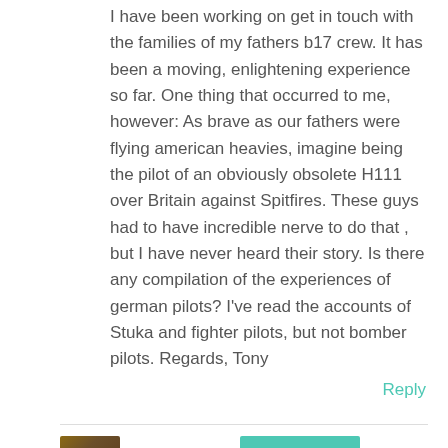I have been working on get in touch with the families of my fathers b17 crew. It has been a moving, enlightening experience so far. One thing that occurred to me, however: As brave as our fathers were flying american heavies, imagine being the pilot of an obviously obsolete H111 over Britain against Spitfires. These guys had to have incredible nerve to do that , but I have never heard their story. Is there any compilation of the experiences of german pilots? I've read the accounts of Stuka and fighter pilots, but not bomber pilots. Regards, Tony
Reply